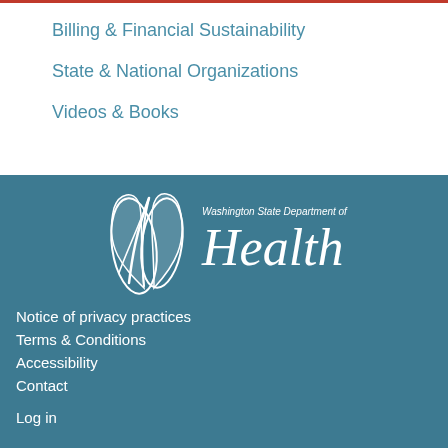Billing & Financial Sustainability
State & National Organizations
Videos & Books
[Figure (logo): Washington State Department of Health logo — stylized feather/leaf mark in white with text 'Washington State Department of Health' in white on teal background]
Notice of privacy practices
Terms & Conditions
Accessibility
Contact
Log in